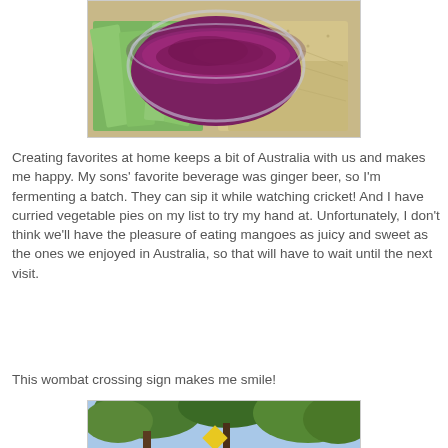[Figure (photo): A glass bowl filled with dark red/purple food (possibly beet dip or chutney), surrounded by sliced cucumber and crackers on a plate.]
Creating favorites at home keeps a bit of Australia with us and makes me happy. My sons' favorite beverage was ginger beer, so I'm fermenting a batch. They can sip it while watching cricket! And I have curried vegetable pies on my list to try my hand at. Unfortunately, I don't think we'll have the pleasure of eating mangoes as juicy and sweet as the ones we enjoyed in Australia, so that will have to wait until the next visit.
This wombat crossing sign makes me smile!
[Figure (photo): A photo showing trees and what appears to be a wombat crossing sign in an outdoor/forested setting.]